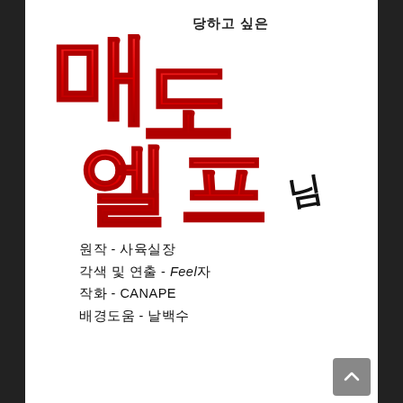매도 당하고 싶은 엘프님
원작 - 사육실장
각색 및 연출 - Feel자
작화 - CANAPE
배경도움 - 날백수